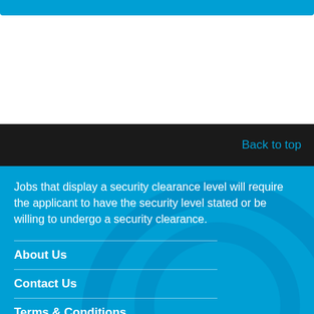Back to top
Jobs that display a security clearance level will require the applicant to have the security level stated or be willing to undergo a security clearance.
About Us
Contact Us
Terms & Conditions
Privacy Policy
Security Cleared Events And Partners
Advertise with us